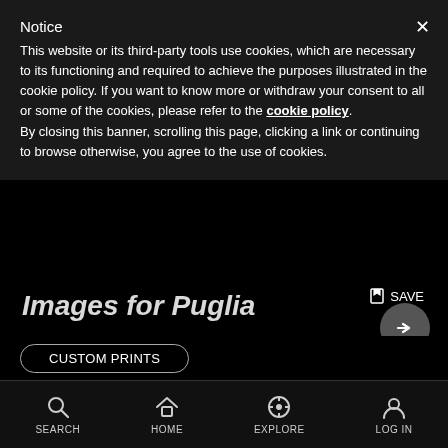Notice
This website or its third-party tools use cookies, which are necessary to its functioning and required to achieve the purposes illustrated in the cookie policy. If you want to know more or withdraw your consent to all or some of the cookies, please refer to the cookie policy.
By closing this banner, scrolling this page, clicking a link or continuing to browse otherwise, you agree to the use of cookies.
Images for Puglia
From 16 October to 20 February 2022
Pino Pascali Foundation
Polignano a Mare, Apulia, Italy
SEARCH  HOME  EXPLORE  LOG IN